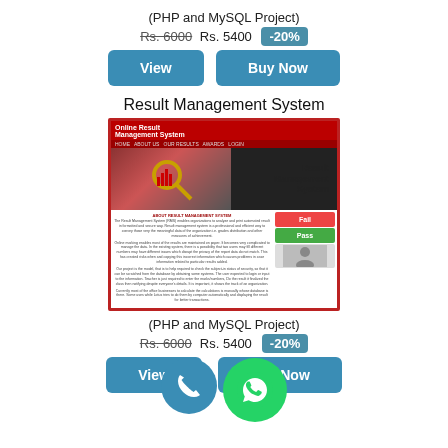(PHP and MySQL Project)
Rs. 6000 Rs. 5400 -20%
View
Buy Now
Result Management System
[Figure (screenshot): Screenshot of Online Result Management System website showing header, navigation, hero image with bar chart and magnifying glass, 'Result Management System' text, and body with Fail/Pass keyboard buttons and a student image.]
(PHP and MySQL Project)
Rs. 6000 Rs. 5400 -20%
View
Buy Now